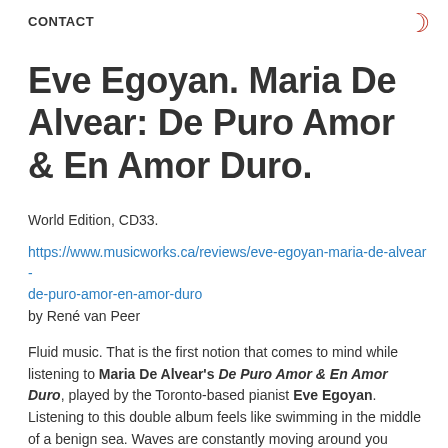CONTACT
Eve Egoyan. Maria De Alvear: De Puro Amor & En Amor Duro.
World Edition, CD33.
https://www.musicworks.ca/reviews/eve-egoyan-maria-de-alvear-de-puro-amor-en-amor-duro
by René van Peer
Fluid music. That is the first notion that comes to mind while listening to Maria De Alvear's De Puro Amor & En Amor Duro, played by the Toronto-based pianist Eve Egoyan. Listening to this double album feels like swimming in the middle of a benign sea. Waves are constantly moving around you everywhere. Some are higher and more energetic than others. And even though you can't really see